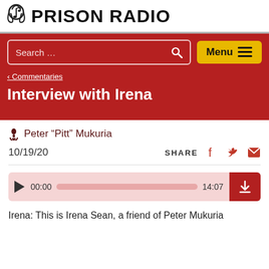PRISON RADIO
Interview with Irena
‹ Commentaries
🎙 Peter “Pitt” Mukuria
10/19/20    SHARE
[Figure (other): Audio player with play button, timestamp 00:00, progress bar, end time 14:07, and download button]
Irena: This is Irena Sean, a friend of Peter Mukuria